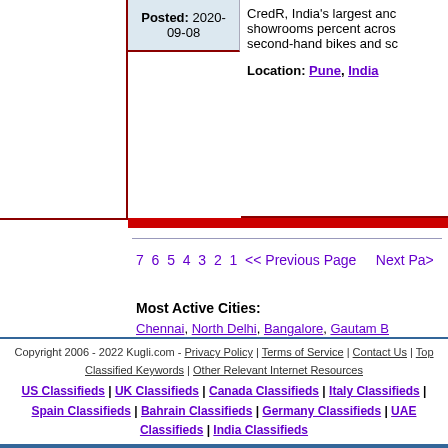Posted: 2020-09-08
CredR, India's largest and... showrooms percent across... second-hand bikes and so... Location: Pune, India
7 6 5 4 3 2 1 << Previous Page   Next Page
Most Active Cities: Chennai, North Delhi, Bangalore, Gautam B... Mumbai, Limassol, Gurgaon, New Delhi, Er... Alwar, Singapore, Kuwait City, Chandigarh,
Kugli.com is the free international classified... ads posted by other visitors. If you want to b... collectibles, computers, electronics, furnitur... right site. * Cars & Vehicles free classifieds * Motorcycles & Bikes free classifieds
Copyright 2006 - 2022 Kugli.com - Privacy Policy | Terms of Service | Contact Us | Top Classified Keywords | Other Relevant Internet Resources
US Classifieds | UK Classifieds | Canada Classifieds | Italy Classifieds | Spain Classifieds | Bahrain Classifieds | Germany Classifieds | UAE Classifieds | India Classifieds